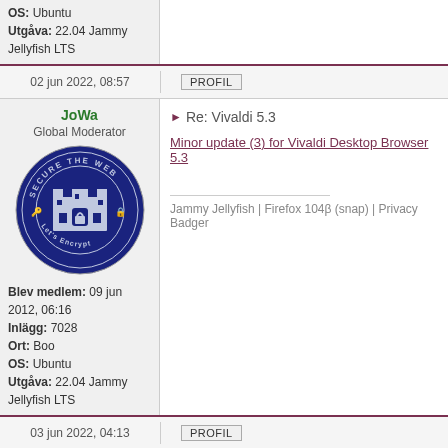OS: Ubuntu
Utgåva: 22.04 Jammy Jellyfish LTS
02 jun 2022, 08:57
PROFIL
JoWa
Global Moderator
[Figure (logo): Secure The Web / Let's Encrypt circular badge logo in dark blue]
Blev medlem: 09 jun 2012, 06:16
Inlägg: 7028
Ort: Boo
OS: Ubuntu
Utgåva: 22.04 Jammy Jellyfish LTS
Re: Vivaldi 5.3
Minor update (3) for Vivaldi Desktop Browser 5.3
Jammy Jellyfish | Firefox 104β (snap) | Privacy Badger
03 jun 2022, 04:13
PROFIL
JoWa
Global Moderator
[Figure (logo): Secure The Web / Let's Encrypt circular badge logo in dark blue]
Re: Vivaldi 5.3
Vivaldi Mail 1.0: A powerful email client built right into y…
Changelog for update 4 for Vivaldi Desktop Browser 5.…